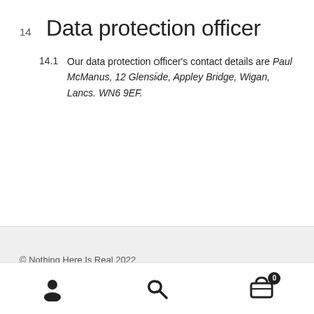14  Data protection officer
14.1  Our data protection officer's contact details are Paul McManus, 12 Glenside, Appley Bridge, Wigan, Lancs. WN6 9EF.
© Nothing Here Is Real 2022
Privacy Policy | Built with Storefront & WooCommerce.